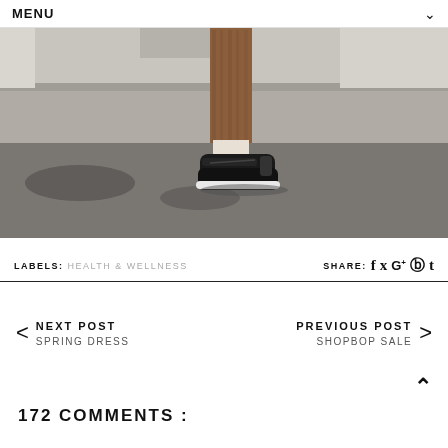MENU
[Figure (photo): Close-up photo of person's legs wearing brown/rust patterned leggings and black athletic sneakers, standing on concrete/asphalt surface]
LABELS: HEALTH & WELLNESS   SHARE: f  y  G+  ⊕  t
< NEXT POST  SPRING DRESS          PREVIOUS POST >  SHOPBOP SALE
172 COMMENTS :